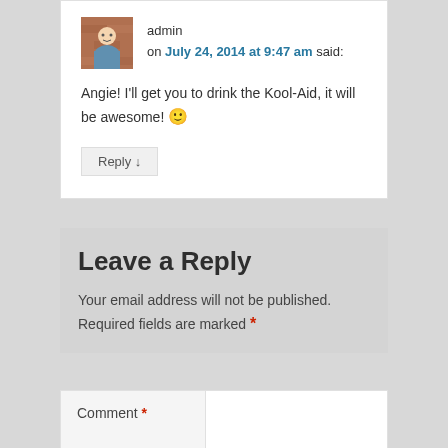admin on July 24, 2014 at 9:47 am said:
Angie! I'll get you to drink the Kool-Aid, it will be awesome! 🙂
Reply ↓
Leave a Reply
Your email address will not be published. Required fields are marked *
Comment *